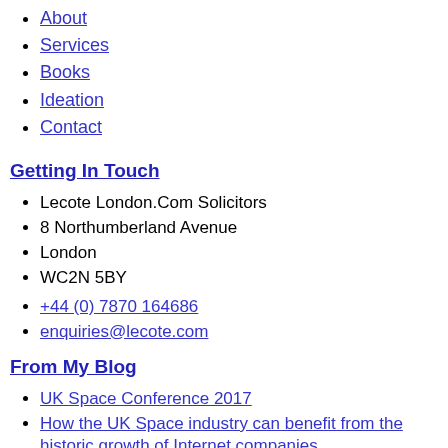About
Services
Books
Ideation
Contact
Getting In Touch
Lecote London.Com Solicitors
8 Northumberland Avenue
London
WC2N 5BY
+44 (0) 7870 164686
enquiries@lecote.com
From My Blog
UK Space Conference 2017
How the UK Space industry can benefit from the historic growth of Internet companies
Other Links